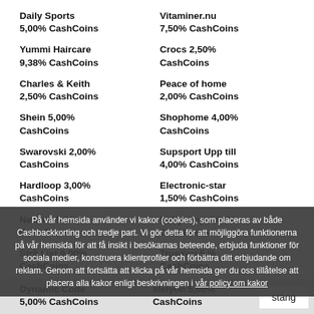Daily Sports 5,00% CashCoins | Vitaminer.nu 7,50% CashCoins
Yummi Haircare 9,38% CashCoins | Crocs 2,50% CashCoins
Charles & Keith 2,50% CashCoins | Peace of home 2,00% CashCoins
Shein 5,00% CashCoins | Shophome 4,00% CashCoins
Swarovski 2,00% CashCoins | Supsport Upp till 4,00% CashCoins
Hardloop 3,00% CashCoins | Electronic-star 1,50% CashCoins
Newbie 5,00% CashCoins | Babyshop 4,00% CashCoins
Str8 List 9,00% CashCoins | TrueYou 5,% CashCoins
På vår hemsida använder vi kakor (cookies), som placeras av både Cashbackkorting och tredje part. Vi gör detta för att möjliggöra funktionerna på vår hemsida för att få insikt i besökarnas beteende, erbjuda funktioner för sociala medier, konstruera klientprofiler och förbättra ditt erbjudande om reklam. Genom att fortsätta att klicka på vår hemsida ger du oss tillåtelse att placera alla kakor enligt beskrivningen i vår policy om kakor
Dynamic Code 5,00% CashCoins | Melyon 5,00% CashCoins